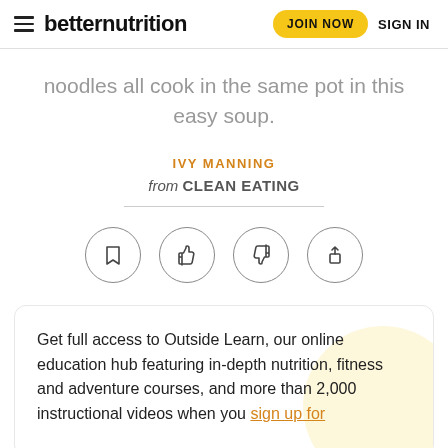betternutrition | JOIN NOW | SIGN IN
noodles all cook in the same pot in this easy soup.
IVY MANNING
from CLEAN EATING
[Figure (infographic): Four circular icon buttons: bookmark, thumbs up, thumbs down, share]
Get full access to Outside Learn, our online education hub featuring in-depth nutrition, fitness and adventure courses, and more than 2,000 instructional videos when you sign up for Outside+